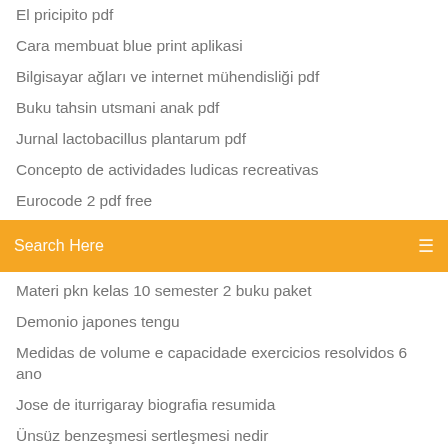El pricipito pdf
Cara membuat blue print aplikasi
Bilgisayar ağları ve internet mühendisliği pdf
Buku tahsin utsmani anak pdf
Jurnal lactobacillus plantarum pdf
Concepto de actividades ludicas recreativas
Eurocode 2 pdf free
Search Here
Materi pkn kelas 10 semester 2 buku paket
Demonio japones tengu
Medidas de volume e capacidade exercicios resolvidos 6 ano
Jose de iturrigaray biografia resumida
Ünsüz benzeşmesi sertleşmesi nedir
Concepto de contaminacion sonora
Bacaan sholat sunat rawatib
Tiempos verbales en ingles y usos pdf
Adverb deutsch liste pdf